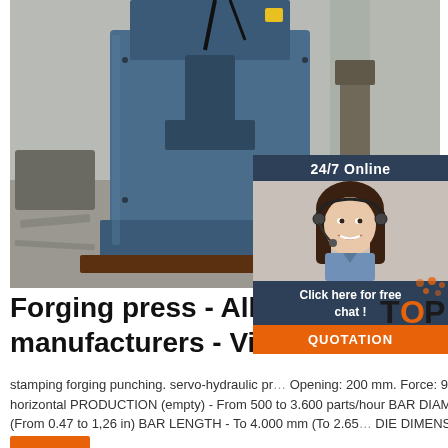[Figure (photo): Industrial forging press machine in a workshop/factory setting, blue metallic press with electrical cables, steel floor, industrial equipment in background]
[Figure (photo): 24/7 Online chat overlay with a smiling female customer support agent wearing a headset, dark navy background, with 'Click here for free chat!' text and an orange QUOTATION button]
Forging press - All industrial manufacturers - Videos
stamping forging punching. servo-hydraulic pr... Opening: 200 mm. Force: 90 tf. PRESS PUNCHES - 3 horizontal PRODUCTION (empty) - From 500 to 3.600 parts/hour BAR DIAMETER - From 12 to 32 mm (From 0.47 to 1,26 in) BAR LENGTH - To 4.000 mm (To 2.65... DIE DIMENSONS 205 x 205 mm This system ...